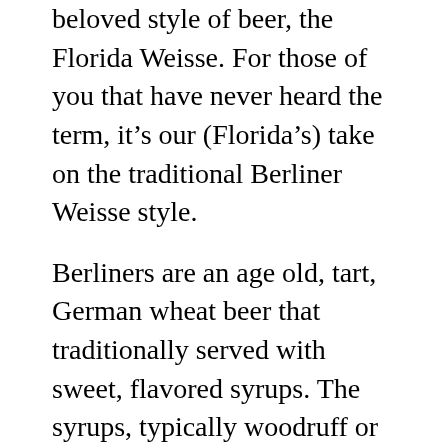beloved style of beer, the Florida Weisse. For those of you that have never heard the term, it's our (Florida's) take on the traditional Berliner Weisse style.
Berliners are an age old, tart, German wheat beer that traditionally served with sweet, flavored syrups. The syrups, typically woodruff or raspberry, are added to cut the sourness and as a result add color. Serve it up in a large glass referred to as a “bowl” and top it off with a straw … yep, a straw.
Florida brewers have taken this concept to a new level. We are not adding syrup (no straws either), the beers are aged on fresh